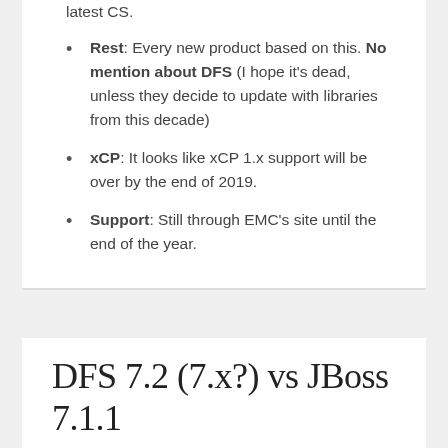latest CS.
Rest: Every new product based on this. No mention about DFS (I hope it’s dead, unless they decide to update with libraries from this decade)
xCP: It looks like xCP 1.x support will be over by the end of 2019.
Support: Still through EMC’s site until the end of the year.
DFS 7.2 (7.x?) vs JBoss 7.1.1